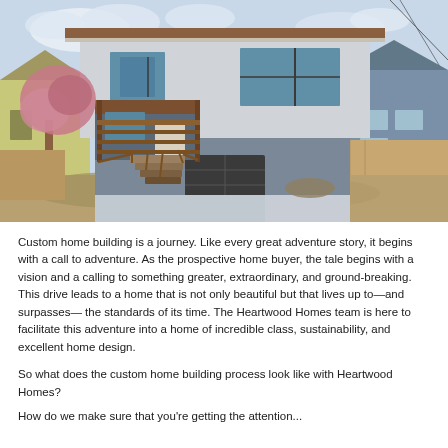[Figure (photo): Exterior photo of a modern two-story custom home with grey siding, wood-accented covered porch, front staircase with horizontal railings, garage below, flanked by neighboring houses and trees.]
Custom home building is a journey. Like every great adventure story, it begins with a call to adventure. As the prospective home buyer, the tale begins with a vision and a calling to something greater, extraordinary, and ground-breaking. This drive leads to a home that is not only beautiful but that lives up to—and surpasses— the standards of its time. The Heartwood Homes team is here to facilitate this adventure into a home of incredible class, sustainability, and excellent home design.
So what does the custom home building process look like with Heartwood Homes?
How do we make sure that you're getting the attention...